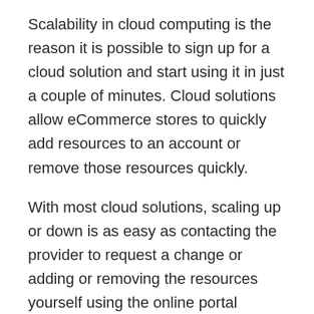Scalability in cloud computing is the reason it is possible to sign up for a cloud solution and start using it in just a couple of minutes. Cloud solutions allow eCommerce stores to quickly add resources to an account or remove those resources quickly.
With most cloud solutions, scaling up or down is as easy as contacting the provider to request a change or adding or removing the resources yourself using the online portal provided by the cloud provider.
eCommerce businesses benefit from cloud solutions that can be auto scaled. This is where